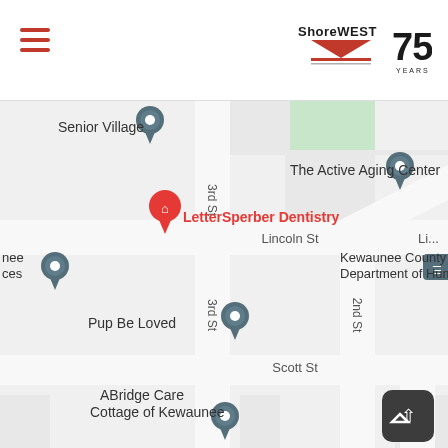[Figure (screenshot): Shorewest Realtors website header with hamburger menu (three red horizontal lines) on the left and Shorewest logo with '75 Years' badge on the right]
[Figure (map): Google Maps screenshot showing a street map of Kewaunee area with a red map pin labeled 'LetterSperber Dentistry' at center, nearby landmarks including 'Senior Village', 'The Active Aging Center', 'Kewaunee County Department of Human...', 'Pup Be Loved', and 'ABridge Care Cottage of Kewaunee'. Streets visible include Lincoln St, Scott St, 3rd St, 2nd St, and 1st St.]